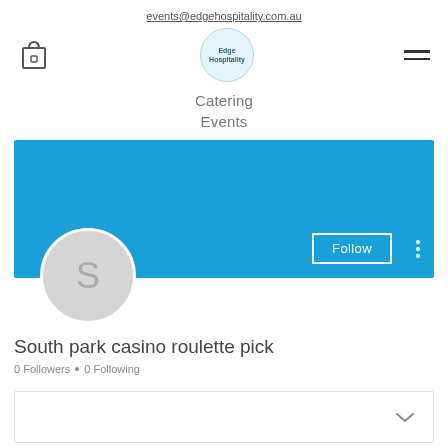events@edgehospitality.com.au
[Figure (logo): Edge Hospitality logo with shopping cart icon and hamburger menu]
Catering
Events
[Figure (screenshot): Blue profile banner with Follow button and avatar showing letter S]
South park casino roulette pick
0 Followers • 0 Following
[Figure (other): Dropdown box with chevron arrow]